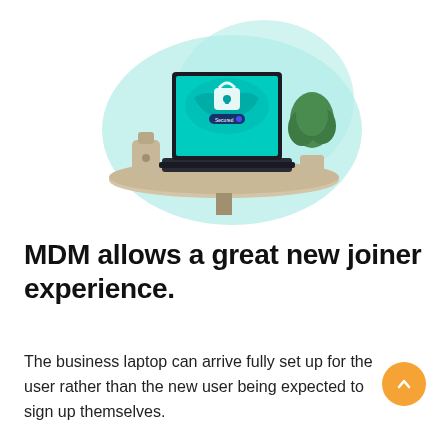[Figure (illustration): A laptop computer with a teal/cyan security lock screen (padlock icon and 'Secured' button) sitting on a round wooden table. Behind it is a teal cloud-like blob shape. To the left is a small beige device and to the right is a potted green plant.]
MDM allows a great new joiner experience.
The business laptop can arrive fully set up for the user rather than the new user being expected to sign up themselves.